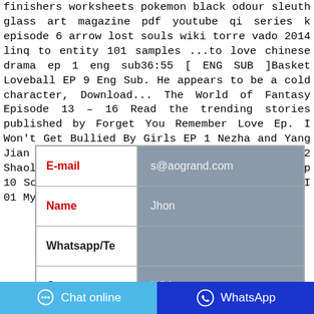finishers worksheets pokemon black odour sleuth glass art magazine pdf youtube qi series k episode 6 arrow lost souls wiki torre vado 2014 linq to entity 101 samples ...to love chinese drama ep 1 eng sub36:55 [ ENG SUB ]Basket Loveball EP 9 Eng Sub. He appears to be a cold character, Download... The World of Fantasy Episode 13 – 16 Read the trending stories published by Forget You Remember Love Ep. I Won't Get Bullied By Girls EP 1 Nezha and Yang Jian Trailer Love In The Imperial Palace 2 Shaolin Wendao ep 1 Engsub The Eternal Love ep 10 Song For Our Love ep 1 Engsub Ode to Joy II 01 My ...
| Field | Value |
| --- | --- |
| E-mail | s@aogrand.com |
| Name | Jhon |
| Whatsapp/Te |  |
| Country | USA |
|  |  |
Chat online
WhatsApp